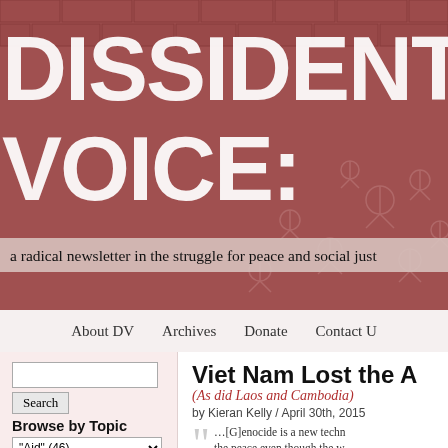[Figure (illustration): Dissident Voice website header banner with large graffiti-style white text 'DISSIDENT VOICE' on a dark red/brick background with peace symbols]
a radical newsletter in the struggle for peace and social just[ice]
About DV   Archives   Donate   Contact U[s]
Viet Nam Lost the A[ir War]
(As did Laos and Cambodia)
by Kieran Kelly / April 30th, 2015
…[G]enocide is a new techn[ique]… the peace even though the w[ar]…
– Raphäel Lemkin, 1944
Browse by Topic
"Aid"  (46)
Poetry on Sunday